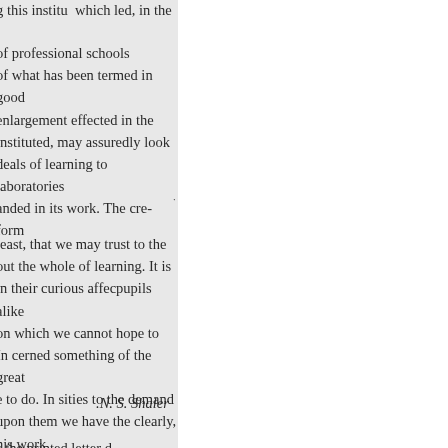g this institu  which led, in the
of professional schools
of what has been termed in good
enlargement effected in the
instituted, may assuredly look
deals of learning to laboratories
anded in its work. The cre- form
least, that we may trust to the
out the whole of learning. It is
in their curious affecpupils alike
on which we cannot hope to
In cerned something of the great
e to do. In sities to the demand
upon them we have the clearly,
his work
.N. S. Shaler
s the printed letter d